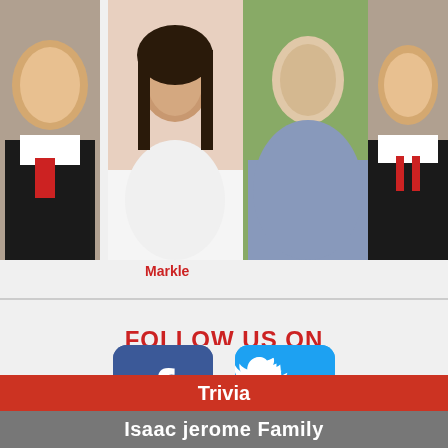[Figure (photo): Photo of Donald Trump on the left side]
[Figure (photo): Photo of Meghan Markle]
Markle
[Figure (photo): Photo of Prince Charles outdoors in a green setting]
suggest Prince Charles will live "in a flat above the shop" when he becomes king.
[Figure (photo): Photo of Donald Trump on the right side]
FOLLOW US ON
[Figure (logo): Facebook logo icon (blue square with white f)]
[Figure (logo): Twitter logo icon (blue square with white bird)]
Trivia
Isaac jerome Family